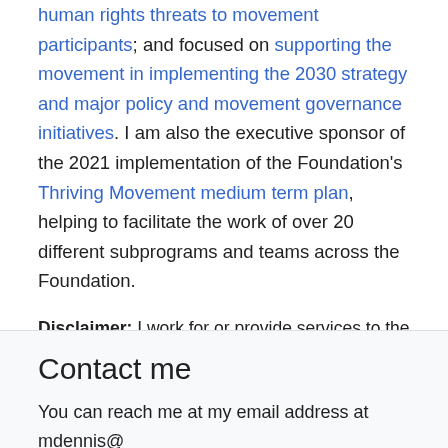human rights threats to movement participants; and focused on supporting the movement in implementing the 2030 strategy and major policy and movement governance initiatives. I am also the executive sponsor of the 2021 implementation of the Foundation's Thriving Movement medium term plan, helping to facilitate the work of over 20 different subprograms and teams across the Foundation.
Disclaimer: I work for or provide services to the Wikimedia Foundation, and this is the account I try to use for edits or statements I make in that role. However, the Foundation does not vet all my activity, so edits, statements, or other contributions made by this account may not reflect the views of the Foundation.
Contact me
You can reach me at my email address at mdennis@